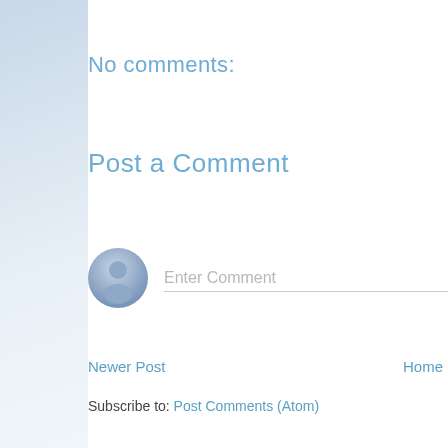No comments:
Post a Comment
[Figure (illustration): Generic user avatar icon, circular with grey gradient, showing a silhouette of a person]
Enter Comment
Newer Post
Home
Subscribe to: Post Comments (Atom)